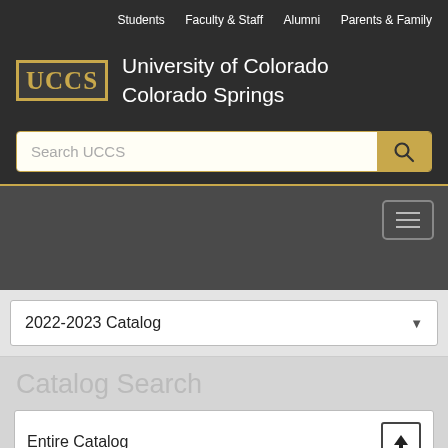Students  Faculty & Staff  Alumni  Parents & Family
[Figure (logo): UCCS logo with gold border and University of Colorado Colorado Springs text]
Search UCCS
2022-2023 Catalog
Catalog Search
Entire Catalog